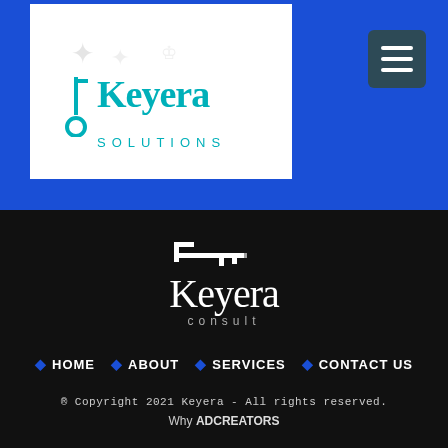[Figure (logo): Keyera Solutions logo with teal key icon and teal text on white background]
[Figure (logo): Hamburger menu icon (three white lines) on dark teal rounded square background]
[Figure (logo): Keyera Consult logo with white key icon and white serif text on dark background]
HOME
ABOUT
SERVICES
CONTACT US
© Copyright 2021 Keyera - All rights reserved.
Why ADCREATORS